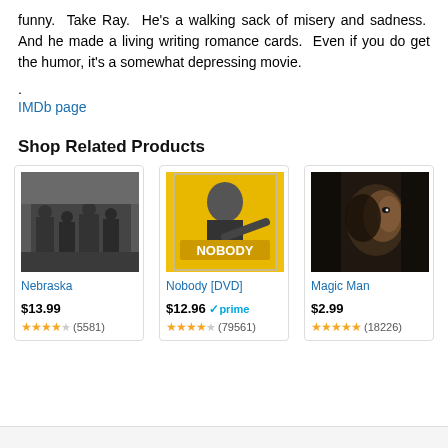funny. Take Ray. He's a walking sack of misery and sadness. And he made a living writing romance cards. Even if you do get the humor, it's a somewhat depressing movie.
.
IMDb page
Shop Related Products
[Figure (photo): Nebraska movie DVD cover - black and white image of people standing outside, title in red text]
Nebraska
$13.99
★★★★½ (5581)
[Figure (photo): Nobody [DVD] movie cover - man in suit on yellow background pointing at camera]
Nobody [DVD]
$12.96 ✓prime
★★★★½ (79561)
[Figure (photo): Magic Man movie - dark scene with a person's face partially lit]
Magic Man
$2.99
★★★★★ (18226)